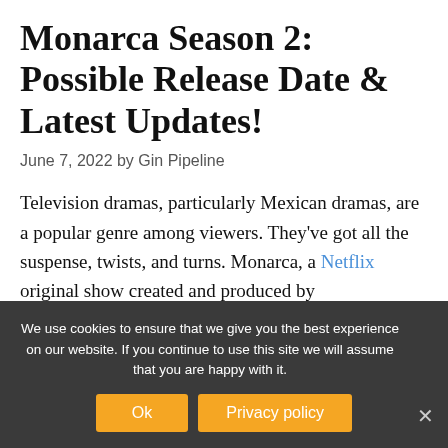Monarca Season 2: Possible Release Date & Latest Updates!
June 7, 2022 by Gin Pipeline
Television dramas, particularly Mexican dramas, are a popular genre among viewers. They've got all the suspense, twists, and turns. Monarca, a Netflix original show created and produced by
We use cookies to ensure that we give you the best experience on our website. If you continue to use this site we will assume that you are happy with it.